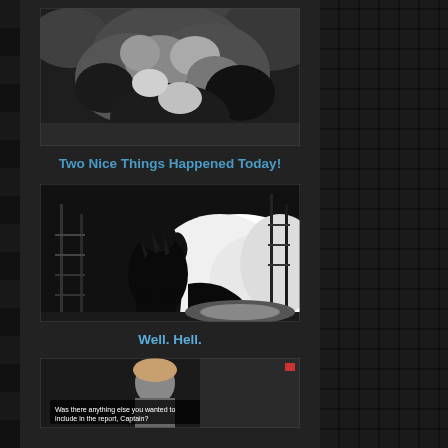[Figure (photo): Black and white photo of a large rocky cave or cavern formation, showing craggy stone textures]
Two Nice Things Happened Today!
[Figure (photo): Black and white still from a Godzilla movie showing a large monster silhouette against flames and industrial structures]
Well. Hell.
(small subtitle text below 'Well. Hell.')
[Figure (screenshot): Partially visible screenshot showing a person and subtitle text reading 'Was there anything else you wanted to include in the report, Captain?']